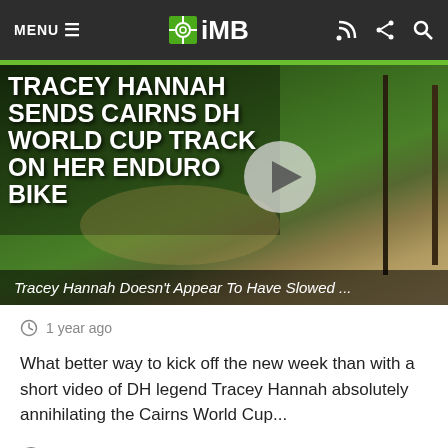MENU  iMB
[Figure (photo): Mountain biker (Tracey Hannah) airborne on a trail through lush green forest on the Cairns DH World Cup track, with a video play button overlay]
TRACEY HANNAH SENDS CAIRNS DH WORLD CUP TRACK ON HER ENDURO BIKE
Tracey Hannah Doesn't Appear To Have Slowed ...
1 year ago
What better way to kick off the new week than with a short video of DH legend Tracey Hannah absolutely annihilating the Cairns World Cup...
7,208